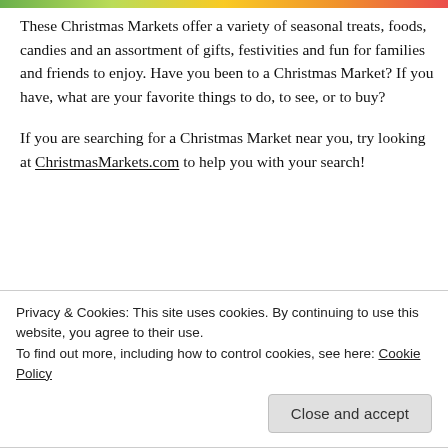[Figure (photo): Colorful image strip at the top of the page (partial, cropped)]
These Christmas Markets offer a variety of seasonal treats, foods, candies and an assortment of gifts, festivities and fun for families and friends to enjoy. Have you been to a Christmas Market? If you have, what are your favorite things to do, to see, or to buy?
If you are searching for a Christmas Market near you, try looking at ChristmasMarkets.com to help you with your search!
[Figure (photo): Photo of a red smartphone/device on a red background]
Privacy & Cookies: This site uses cookies. By continuing to use this website, you agree to their use.
To find out more, including how to control cookies, see here: Cookie Policy
Close and accept